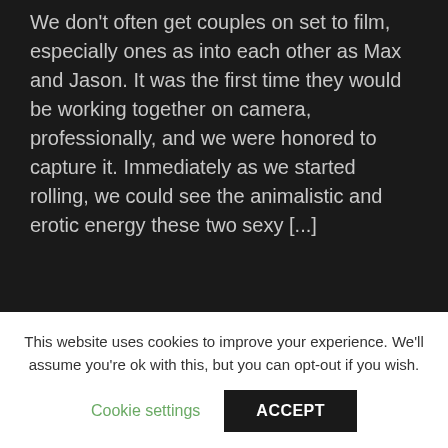We don't often get couples on set to film, especially ones as into each other as Max and Jason. It was the first time they would be working together on camera, professionally, and we were honored to capture it. Immediately as we started rolling, we could see the animalistic and erotic energy these two sexy [...]
We love it when a newbie like DJ comes back better than before. And we had the perfect scene partner for him in Anthony, to practice his new skills. Anthony loves a beefy bear, and DJ was his snack today. Starting with some kissing and licking, DJ used his mouth on Anthony's neck...
This website uses cookies to improve your experience. We'll assume you're ok with this, but you can opt-out if you wish.
Cookie settings
ACCEPT